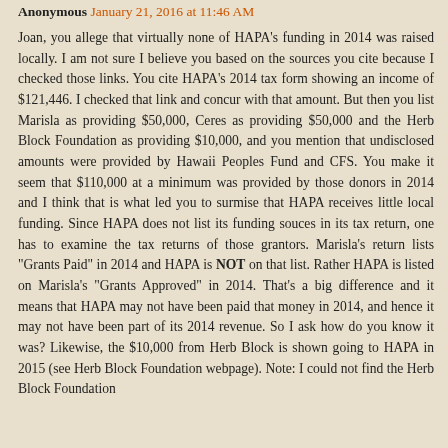Anonymous January 21, 2016 at 11:46 AM
Joan, you allege that virtually none of HAPA's funding in 2014 was raised locally. I am not sure I believe you based on the sources you cite because I checked those links. You cite HAPA's 2014 tax form showing an income of $121,446. I checked that link and concur with that amount. But then you list Marisla as providing $50,000, Ceres as providing $50,000 and the Herb Block Foundation as providing $10,000, and you mention that undisclosed amounts were provided by Hawaii Peoples Fund and CFS. You make it seem that $110,000 at a minimum was provided by those donors in 2014 and I think that is what led you to surmise that HAPA receives little local funding. Since HAPA does not list its funding souces in its tax return, one has to examine the tax returns of those grantors. Marisla's return lists "Grants Paid" in 2014 and HAPA is NOT on that list. Rather HAPA is listed on Marisla's "Grants Approved" in 2014. That's a big difference and it means that HAPA may not have been paid that money in 2014, and hence it may not have been part of its 2014 revenue. So I ask how do you know it was? Likewise, the $10,000 from Herb Block is shown going to HAPA in 2015 (see Herb Block Foundation webpage). Note: I could not find the Herb Block Foundation